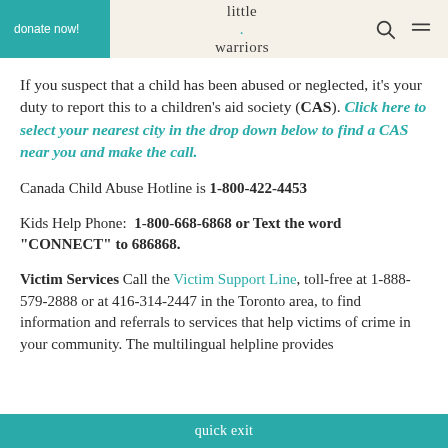donate now! | little warriors | [search icon] [menu icon]
If you suspect that a child has been abused or neglected, it’s your duty to report this to a children’s aid society (CAS). Click here to select your nearest city in the drop down below to find a CAS near you and make the call.
Canada Child Abuse Hotline is 1-800-422-4453
Kids Help Phone: 1-800-668-6868 or Text the word “CONNECT” to 686868.
Victim Services Call the Victim Support Line, toll-free at 1-888-579-2888 or at 416-314-2447 in the Toronto area, to find information and referrals to services that help victims of crime in your community. The multilingual helpline provides...
quick exit